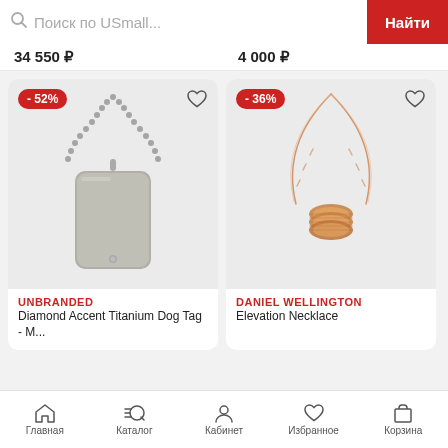Поиск по USmall... Найти
34 550 ₽  4 000 ₽
[Figure (photo): Metal dog tag necklace with ball chain, silver/grey color, with -52% discount badge and heart icon]
[Figure (photo): Daniel Wellington Elevation Necklace, rose gold ring pendant on chain, with -36% discount badge and heart icon]
UNBRANDED
Diamond Accent Titanium Dog Tag - M...
DANIEL WELLINGTON
Elevation Necklace
Главная  Каталог  Кабинет  Избранное  Корзина